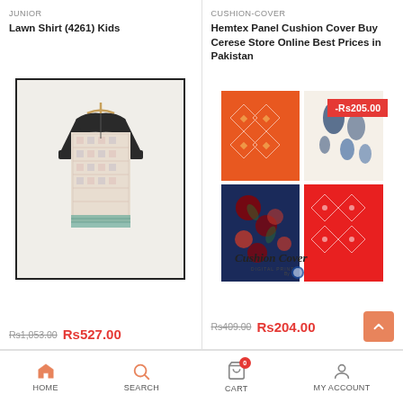JUNIOR
Lawn Shirt (4261) Kids
[Figure (photo): Kids lawn shirt with black yoke and patterned body on hanger]
Rs1,053.00 Rs527.00
CUSHION-COVER
Hemtex Panel Cushion Cover Buy Cerese Store Online Best Prices in Pakistan
[Figure (photo): Colorful patchwork cushion cover with red, navy and orange patterns, discount badge -Rs205.00]
Rs409.00 Rs204.00
HOME  SEARCH  CART  MY ACCOUNT